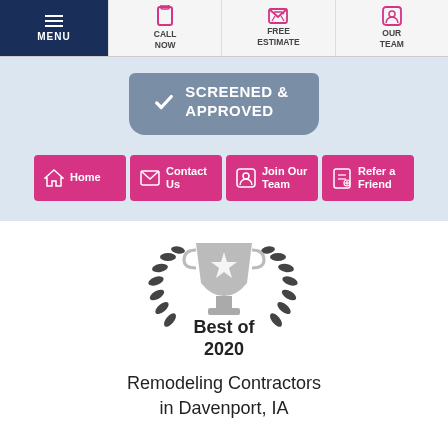MENU | CALL NOW | FREE ESTIMATE | OUR TEAM
[Figure (logo): Screened & Approved badge with checkmark]
Home
Contact Us
Join Our Team
Refer a Friend
[Figure (illustration): Best of 2020 trophy with laurel wreath badge]
Remodeling Contractors in Davenport, IA